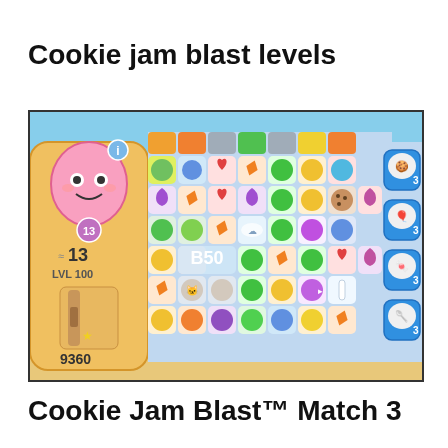Cookie jam blast levels
[Figure (screenshot): Screenshot of Cookie Jam Blast mobile game showing a match-3 puzzle board with colorful candy/cookie pieces including hearts, stars, moons, and round shapes in green, pink, purple, yellow, orange, red, blue colors. Left side shows a character meter with '13 moves', 'LVL 100', score '9360'. Right side shows power-up items each labeled '3'.]
Cookie Jam Blast™ Match 3